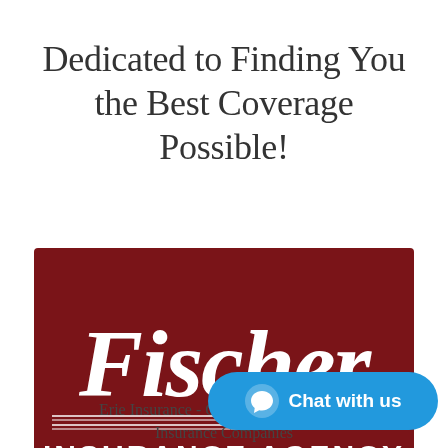Dedicated to Finding You the Best Coverage Possible!
[Figure (logo): Fischer Insurance Agency logo — dark red/maroon rectangular background with white italic 'Fischer' script lettering and 'INSURANCE AGENCY' in white block capitals below, with decorative white horizontal lines above and below the agency name text.]
Erie Insurance - One of America's Best Insurance Companies
[Figure (infographic): Blue rounded chat bubble button with a white chat/speech bubble icon and white bold text reading 'Chat with us']